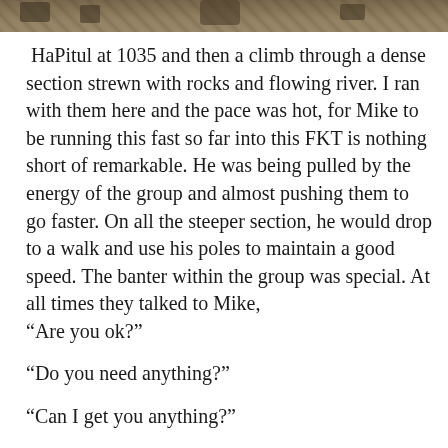[Figure (photo): Outdoor rocky terrain with stones and natural ground cover, partial view at top of page]
HaPitul at 1035 and then a climb through a dense section strewn with rocks and flowing river. I ran with them here and the pace was hot, for Mike to be running this fast so far into this FKT is nothing short of remarkable. He was being pulled by the energy of the group and almost pushing them to go faster. On all the steeper section, he would drop to a walk and use his poles to maintain a good speed. The banter within the group was special. At all times they talked to Mike,
“Are you ok?”
“Do you need anything?”
“Can I get you anything?”
“Do they even consider killing thirst here”